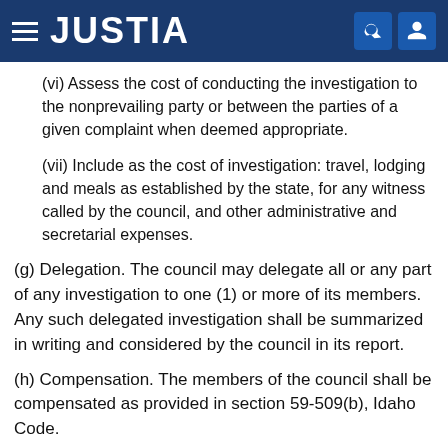JUSTIA
(vi) Assess the cost of conducting the investigation to the nonprevailing party or between the parties of a given complaint when deemed appropriate.
(vii) Include as the cost of investigation: travel, lodging and meals as established by the state, for any witness called by the council, and other administrative and secretarial expenses.
(g) Delegation. The council may delegate all or any part of any investigation to one (1) or more of its members. Any such delegated investigation shall be summarized in writing and considered by the council in its report.
(h) Compensation. The members of the council shall be compensated as provided in section 59-509(b), Idaho Code.